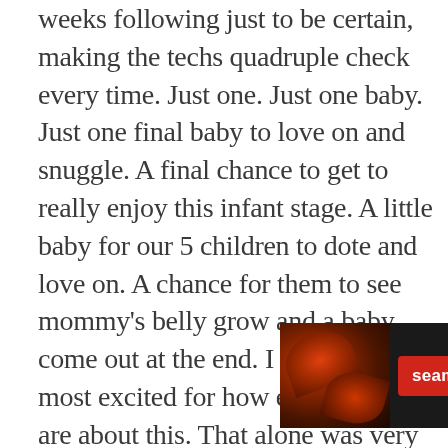weeks following just to be certain, making the techs quadruple check every time. Just one. Just one baby. Just one final baby to love on and snuggle. A final chance to get to really enjoy this infant stage. A little baby for our 5 children to dote and love on. A chance for them to see mommy's belly grow and a baby come out at the end. I think I'm most excited for how excited they are about this. That alone was very comforting and reassuring that they are so welcoming of one more. We never knew we were missing one. But sometimes your heart just knows ⊗
[Figure (other): Advertisement banner for Seamless food delivery service. Dark background with pizza image on left, red Seamless logo badge in center, and white 'ORDER NOW' text in bordered box on right.]